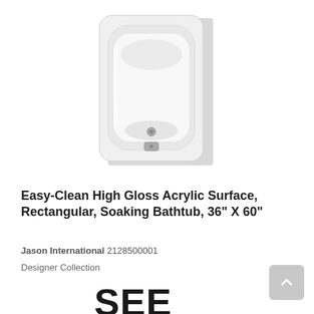[Figure (photo): White rectangular soaking bathtub viewed from above, showing drain and overflow plate, with a light gray shadowed background]
Easy-Clean High Gloss Acrylic Surface, Rectangular, Soaking Bathtub, 36" X 60"
Jason International 2128500001
Designer Collection
SEE DETAILS